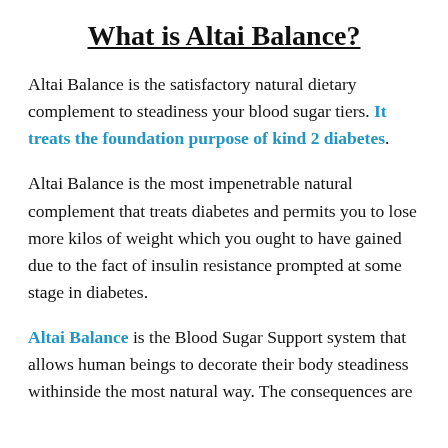What is Altai Balance?
Altai Balance is the satisfactory natural dietary complement to steadiness your blood sugar tiers. It treats the foundation purpose of kind 2 diabetes.
Altai Balance is the most impenetrable natural complement that treats diabetes and permits you to lose more kilos of weight which you ought to have gained due to the fact of insulin resistance prompted at some stage in diabetes.
Altai Balance is the Blood Sugar Support system that allows human beings to decorate their body steadiness withinside the most natural way. The consequences are